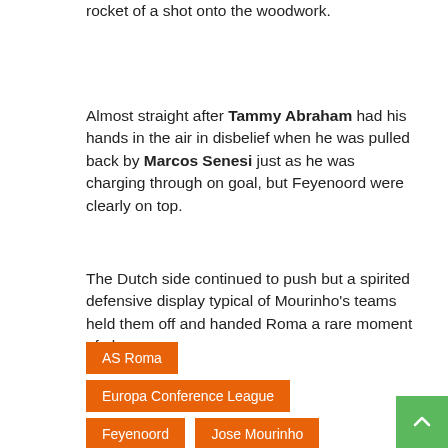rocket of a shot onto the woodwork.
Almost straight after Tammy Abraham had his hands in the air in disbelief when he was pulled back by Marcos Senesi just as he was charging through on goal, but Feyenoord were clearly on top.
The Dutch side continued to push but a spirited defensive display typical of Mourinho's teams held them off and handed Roma a rare moment of glory.
AS Roma
Europa Conference League
Feyenoord
Jose Mourinho